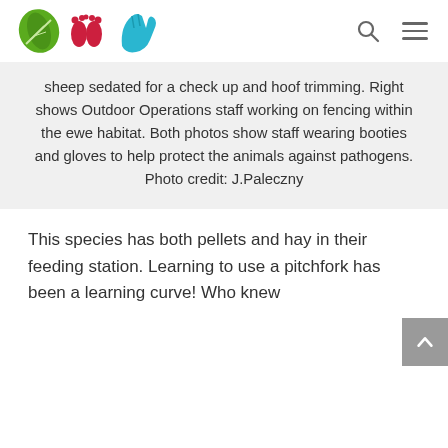Logo icons: leaf, footprints, hand
sheep sedated for a check up and hoof trimming. Right shows Outdoor Operations staff working on fencing within the ewe habitat. Both photos show staff wearing booties and gloves to help protect the animals against pathogens. Photo credit: J.Paleczny
This species has both pellets and hay in their feeding station. Learning to use a pitchfork has been a learning curve! Who knew